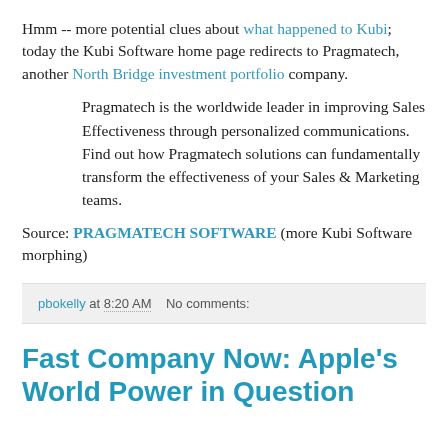Hmm -- more potential clues about what happened to Kubi; today the Kubi Software home page redirects to Pragmatech, another North Bridge investment portfolio company.
Pragmatech is the worldwide leader in improving Sales Effectiveness through personalized communications. Find out how Pragmatech solutions can fundamentally transform the effectiveness of your Sales & Marketing teams.
Source: PRAGMATECH SOFTWARE (more Kubi Software morphing)
pbokelly at 8:20 AM   No comments:
Fast Company Now: Apple's World Power in Question